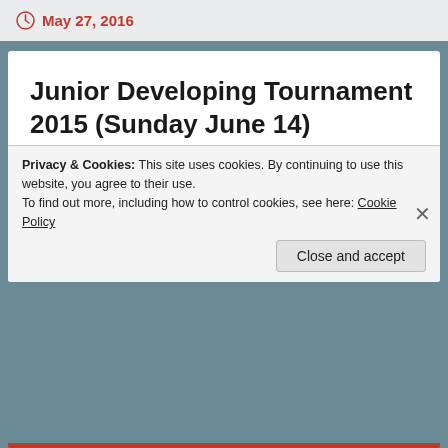May 27, 2016
Junior Developing Tournament 2015 (Sunday June 14)
The first Junior Developing Tournament of 2015 will be held at the Empire Table Tennis Club hall at Marine Parade in Petone and includes age group events: U12, U14, U17 and also a new
Privacy & Cookies: This site uses cookies. By continuing to use this website, you agree to their use.
To find out more, including how to control cookies, see here: Cookie Policy
Close and accept